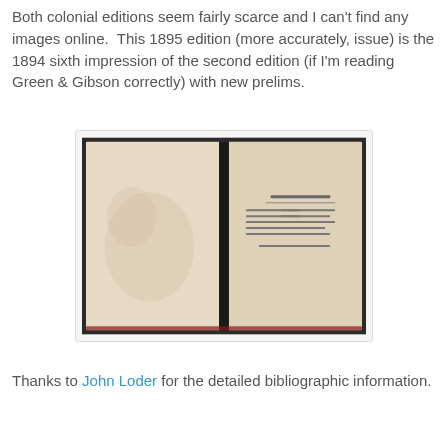Both colonial editions seem fairly scarce and I can't find any images online. This 1895 edition (more accurately, issue) is the 1894 sixth impression of the second edition (if I'm reading Green & Gibson correctly) with new prelims.
[Figure (photo): Open book showing two pages: the left page is blank/aged cream-colored paper, the right page shows small printed text that appears to be a table of contents or similar list.]
Thanks to John Loder for the detailed bibliographic information.